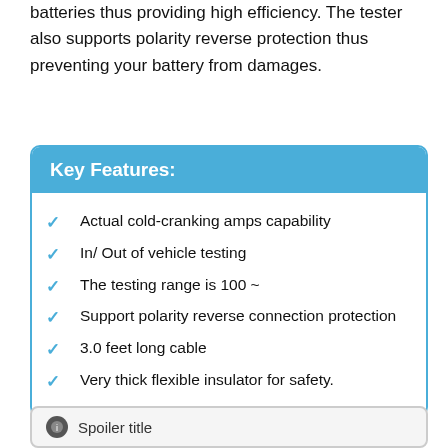batteries thus providing high efficiency. The tester also supports polarity reverse protection thus preventing your battery from damages.
Key Features:
Actual cold-cranking amps capability
In/ Out of vehicle testing
The testing range is 100 ~
Support polarity reverse connection protection
3.0 feet long cable
Very thick flexible insulator for safety.
Spoiler title